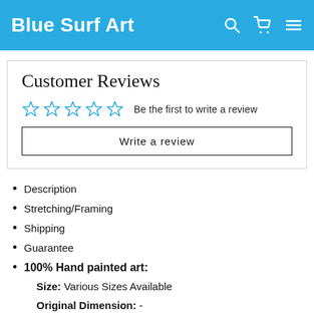Blue Surf Art
Customer Reviews
☆ ☆ ☆ ☆ ☆  Be the first to write a review
Write a review
Description
Stretching/Framing
Shipping
Guarantee
100% Hand painted art:
Size: Various Sizes Available
Original Dimension: -
Year: 1500 -1505
Medium: Oil Painting on Canvas